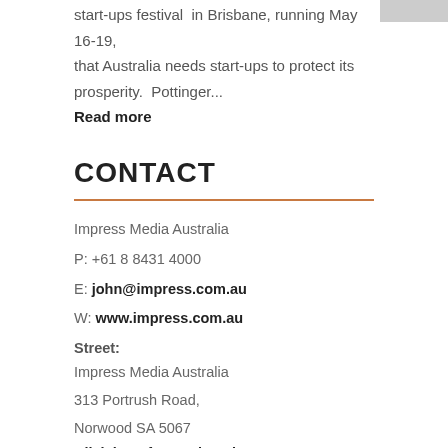start-ups festival in Brisbane, running May 16-19, that Australia needs start-ups to protect its prosperity. Pottinger...
Read more
CONTACT
Impress Media Australia
P: +61 8 8431 4000
E: john@impress.com.au
W: www.impress.com.au
Street:
Impress Media Australia
313 Portrush Road,
Norwood SA 5067
Click here for our location
Postal: